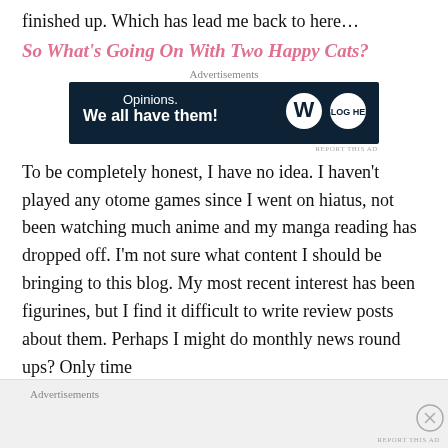finished up. Which has lead me back to here…
So What's Going On With Two Happy Cats?
[Figure (other): WordPress advertisement banner: 'Opinions. We all have them!' with WordPress and another logo on dark navy background]
To be completely honest, I have no idea. I haven't played any otome games since I went on hiatus, not been watching much anime and my manga reading has dropped off. I'm not sure what content I should be bringing to this blog. My most recent interest has been figurines, but I find it difficult to write review posts about them. Perhaps I might do monthly news round ups? Only time
Advertisements